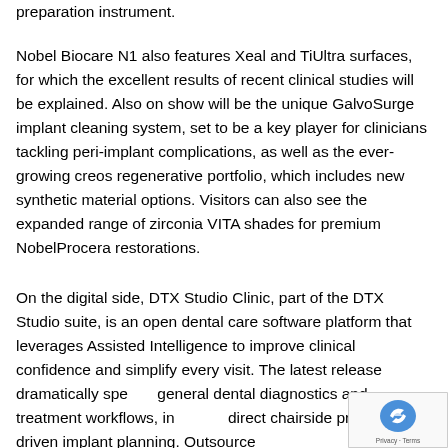preparation instrument.
Nobel Biocare N1 also features Xeal and TiUltra surfaces, for which the excellent results of recent clinical studies will be explained. Also on show will be the unique GalvoSurge implant cleaning system, set to be a key player for clinicians tackling peri-implant complications, as well as the ever-growing creos regenerative portfolio, which includes new synthetic material options. Visitors can also see the expanded range of zirconia VITA shades for premium NobelProcera restorations.
On the digital side, DTX Studio Clinic, part of the DTX Studio suite, is an open dental care software platform that leverages Assisted Intelligence to improve clinical confidence and simplify every visit. The latest release dramatically speeds general dental diagnostics and treatment workflows, including direct chairside prosthetic-driven implant planning. Outsource